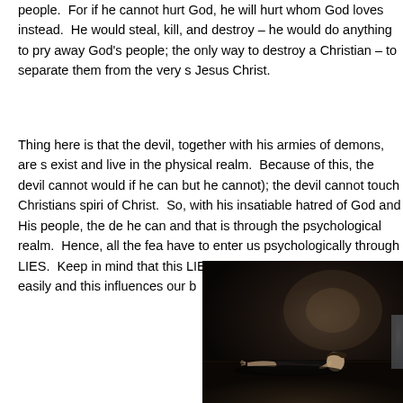people.  For if he cannot hurt God, he will hurt whom God loves instead.  He would steal, kill, and destroy – he would do anything to pry away God's people; the only way to destroy a Christian – to separate them from the very source of life – Jesus Christ.
Thing here is that the devil, together with his armies of demons, are spirit beings that exist and live in the physical realm.  Because of this, the devil cannot physically touch us (he would if he can but he cannot); the devil cannot touch Christians spiritually because of Christ.  So, with his insatiable hatred of God and His people, the devil does what he can and that is through the psychological realm.  Hence, all the fears and worries have to enter us psychologically through LIES.  Keep in mind that this world is full of LIES and these enter our minds quite easily and this influences our b
[Figure (photo): Dark, moody photograph of a person lying on the floor in a dimly lit room, appearing distressed, with dark background wall.]